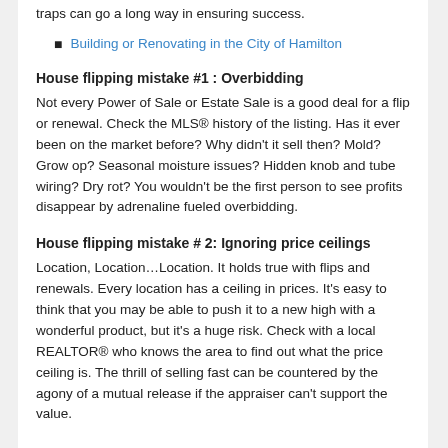traps can go a long way in ensuring success.
Building or Renovating in the City of Hamilton
House flipping mistake #1 : Overbidding
Not every Power of Sale or Estate Sale is a good deal for a flip or renewal. Check the MLS® history of the listing. Has it ever been on the market before? Why didn't it sell then? Mold? Grow op? Seasonal moisture issues? Hidden knob and tube wiring? Dry rot? You wouldn't be the first person to see profits disappear by adrenaline fueled overbidding.
House flipping mistake # 2: Ignoring price ceilings
Location, Location…Location. It holds true with flips and renewals. Every location has a ceiling in prices. It's easy to think that you may be able to push it to a new high with a wonderful product, but it's a huge risk. Check with a local REALTOR® who knows the area to find out what the price ceiling is. The thrill of selling fast can be countered by the agony of a mutual release if the appraiser can't support the value.